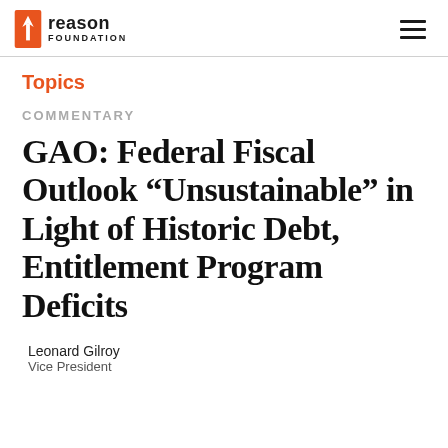reason FOUNDATION
Topics
COMMENTARY
GAO: Federal Fiscal Outlook “Unsustainable” in Light of Historic Debt, Entitlement Program Deficits
Leonard Gilroy
Vice President